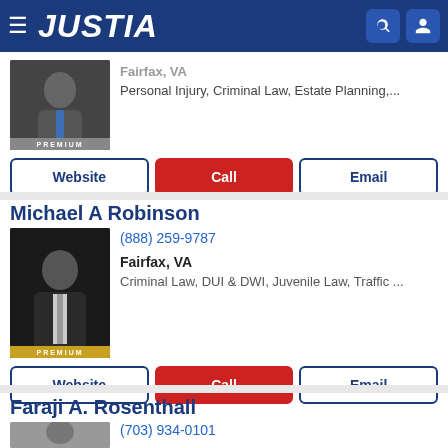JUSTIA
Fairfax, VA — Personal Injury, Criminal Law, Estate Planning,...
Website | Call | Email
Michael A Robinson
(888) 259-9787
Fairfax, VA
Criminal Law, DUI & DWI, Juvenile Law, Traffic ...
Website | Call | Email
Faraji A. Rosenthall
(703) 934-0101